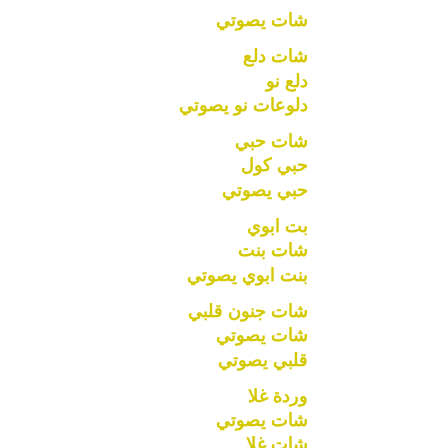شات يصوتي
شات دلع
دلع نو
دلوعات نو يصوتي
شات حبي
حبي كول
حبي يصوتي
بت ابوي
شات بنت
بنت ابوي يصوتي
شات جنون قلبي
شات يصوتي
قلبي يصوتي
وردة غلا
شات يصوتي
شات غلا
شات وردة يصوتي